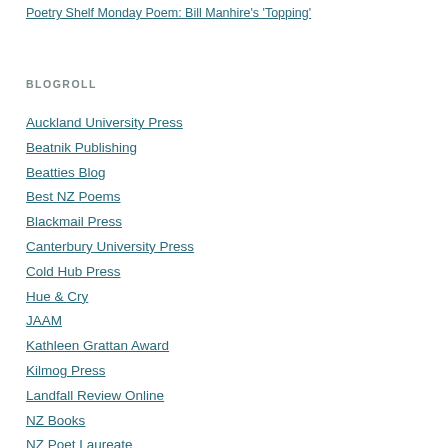Poetry Shelf Monday Poem: Bill Manhire's 'Topping'
BLOGROLL
Auckland University Press
Beatnik Publishing
Beatties Blog
Best NZ Poems
Blackmail Press
Canterbury University Press
Cold Hub Press
Hue & Cry
JAAM
Kathleen Grattan Award
Kilmog Press
Landfall Review Online
NZ Books
NZ Poet Laureate